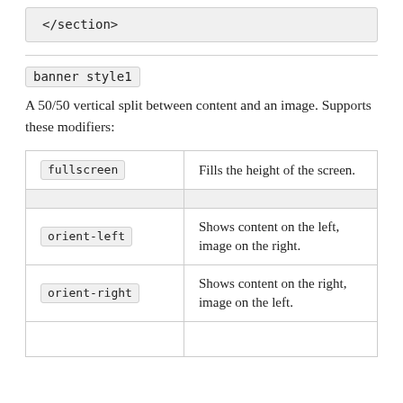</section>
banner style1
A 50/50 vertical split between content and an image. Supports these modifiers:
| Modifier | Description |
| --- | --- |
| fullscreen | Fills the height of the screen. |
|  |  |
| orient-left | Shows content on the left, image on the right. |
| orient-right | Shows content on the right, image on the left. |